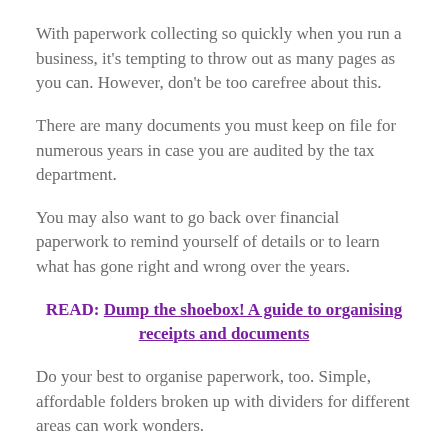With paperwork collecting so quickly when you run a business, it's tempting to throw out as many pages as you can. However, don't be too carefree about this.
There are many documents you must keep on file for numerous years in case you are audited by the tax department.
You may also want to go back over financial paperwork to remind yourself of details or to learn what has gone right and wrong over the years.
READ: Dump the shoebox! A guide to organising receipts and documents
Do your best to organise paperwork, too. Simple, affordable folders broken up with dividers for different areas can work wonders.
Alternatively, take scans or photographs of documents